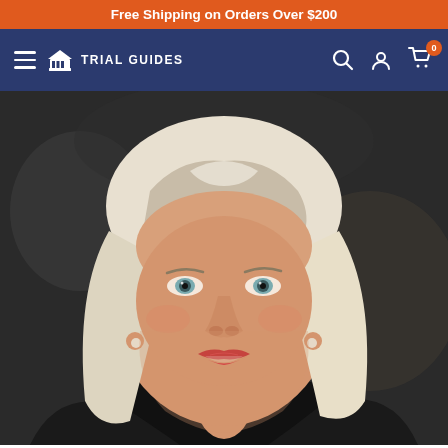Free Shipping on Orders Over $200
[Figure (screenshot): Trial Guides website navigation bar with hamburger menu, Trial Guides logo (building icon), search icon, account icon, and cart icon with badge showing 0]
[Figure (photo): Professional headshot of a woman with blonde/white hair, blue eyes, red lipstick, wearing a black sleeveless top and silver necklace, smiling at the camera against a blurred dark background]